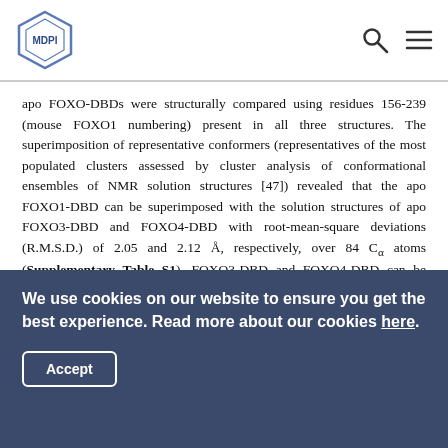MDPI
apo FOXO-DBDs were structurally compared using residues 156-239 (mouse FOXO1 numbering) present in all three structures. The superimposition of representative conformers (representatives of the most populated clusters assessed by cluster analysis of conformational ensembles of NMR solution structures [47]) revealed that the apo FOXO1-DBD can be superimposed with the solution structures of apo FOXO3-DBD and FOXO4-DBD with root-mean-square deviations (R.M.S.D.) of 2.05 and 2.12 Å, respectively, over 84 Cα atoms (Supplementary Table S1). FOXO3-DBD and FOXO4-DBD can be superimposed with the R.M.S.D. of 2.50 Å over 84 Cα atoms. The most significant differences are observed in the loop
We use cookies on our website to ensure you get the best experience. Read more about our cookies here.
Accept